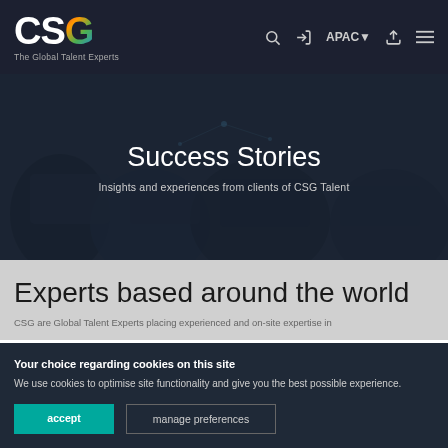[Figure (logo): CSG The Global Talent Experts logo in white with colorful G letter]
CSG The Global Talent Experts — navigation bar with search, login, APAC, upload, and menu icons
Success Stories
Insights and experiences from clients of CSG Talent
Experts based around the world
CSG are Global Talent Experts placing experienced and on-site expertise in
Your choice regarding cookies on this site
We use cookies to optimise site functionality and give you the best possible experience.
accept
manage preferences